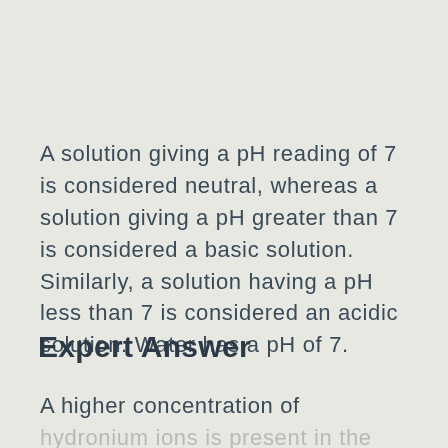A solution giving a pH reading of 7 is considered neutral, whereas a solution giving a pH greater than 7 is considered a basic solution. Similarly, a solution having a pH less than 7 is considered an acidic solution. Water has a pH of 7.
Expert Answer
A higher concentration of hydronium ions is present in the acidic solution with fewer